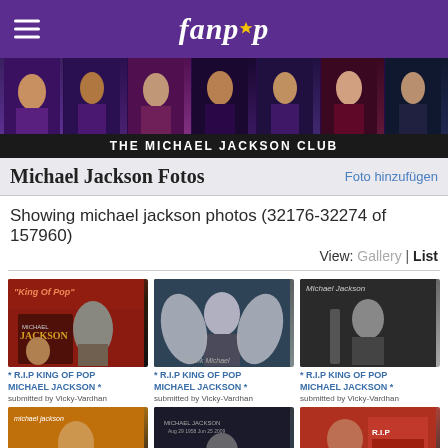fanpop
[Figure (photo): Fanpop banner with multiple Michael Jackson photos collage]
THE MICHAEL JACKSON CLUB
Michael Jackson Fotos
Showing michael jackson photos (32176-32274 of 157960)
View: Gallery | List
[Figure (photo): * R.I.P KING OF POP MICHAEL JACKSON * photo 1, submitted by Vicky-Vardhan]
[Figure (photo): * R.I.P KING OF POP MICHAEL JACKSON * photo 2, submitted by Vicky-Vardhan]
[Figure (photo): * R.I.P KING OF POP MICHAEL JACKSON * photo 3, submitted by Vicky-Vardhan]
[Figure (photo): * R.I.P KING OF POP photo 4 (partial visible)]
[Figure (photo): * R.I.P KING OF POP photo 5 (partial visible)]
[Figure (photo): * R.I.P KING OF POP photo 6 (partial visible)]